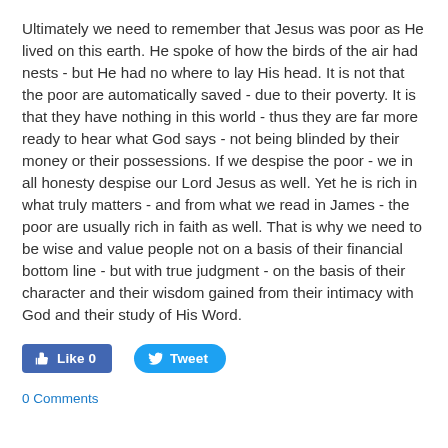Ultimately we need to remember that Jesus was poor as He lived on this earth. He spoke of how the birds of the air had nests - but He had no where to lay His head. It is not that the poor are automatically saved - due to their poverty. It is that they have nothing in this world - thus they are far more ready to hear what God says - not being blinded by their money or their possessions. If we despise the poor - we in all honesty despise our Lord Jesus as well. Yet he is rich in what truly matters - and from what we read in James - the poor are usually rich in faith as well. That is why we need to be wise and value people not on a basis of their financial bottom line - but with true judgment - on the basis of their character and their wisdom gained from their intimacy with God and their study of His Word.
[Figure (other): Social sharing buttons: Facebook Like button showing 'Like 0' and Twitter Tweet button]
0 Comments